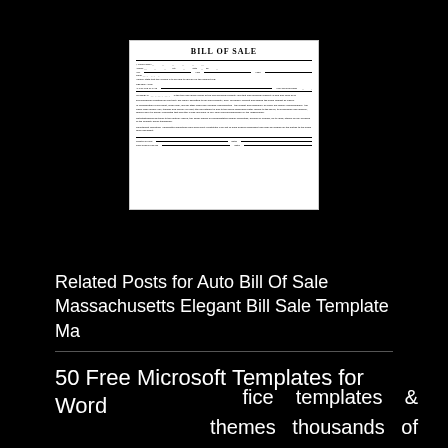[Figure (illustration): Thumbnail image of a Bill of Sale form document with 'BILL OF SALE' printed at the top in bold serif font, with multiple form fields and lines of text below.]
Related Posts for Auto Bill Of Sale Massachusetts Elegant Bill Sale Template Ma
50 Free Microsoft Templates for Word
fice templates & themes thousands of